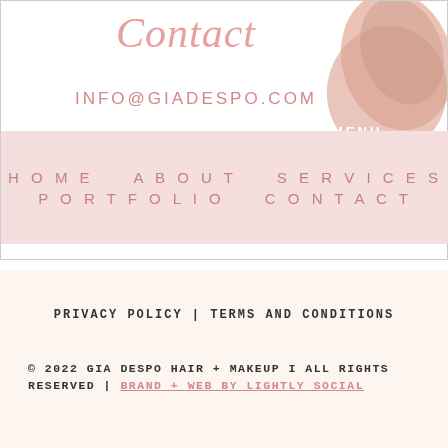Contact
INFO@GIADESPO.COM
[Figure (illustration): Pink/rose decorative makeup swatch blob shape in top right corner with MENU text overlaid]
HOME   ABOUT   SERVICES   PORTFOLIO   CONTACT
PRIVACY POLICY | TERMS AND CONDITIONS
© 2022 GIA DESPO HAIR + MAKEUP  I ALL RIGHTS RESERVED | BRAND + WEB BY LIGHTLY SOCIAL